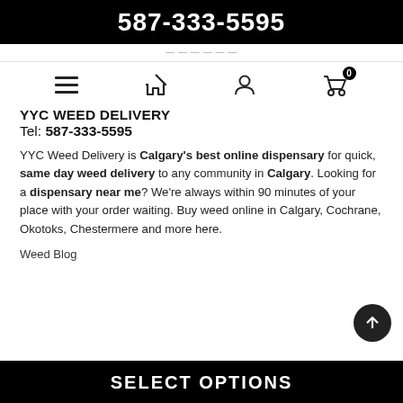587-333-5595
[navigation bar with menu, home, user, cart icons]
YYC WEED DELIVERY
Tel: 587-333-5595
YYC Weed Delivery is Calgary's best online dispensary for quick, same day weed delivery to any community in Calgary. Looking for a dispensary near me? We're always within 90 minutes of your place with your order waiting. Buy weed online in Calgary, Cochrane, Okotoks, Chestermere and more here.
Weed Blog
SELECT OPTIONS